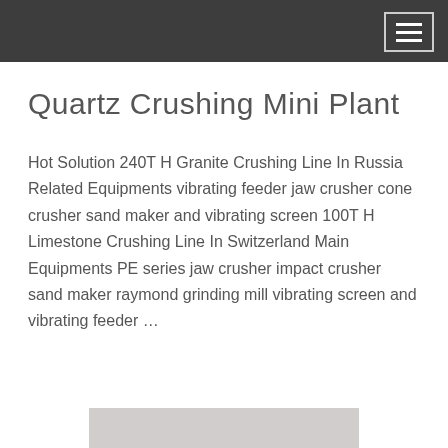≡
[Figure (illustration): Live chat speech bubble icon with teal/blue speech bubble and dark blue larger bubble behind it, text 'LIVE CHAT' inside]
Quartz Crushing Mini Plant
Hot Solution 240T H Granite Crushing Line In Russia Related Equipments vibrating feeder jaw crusher cone crusher sand maker and vibrating screen 100T H Limestone Crushing Line In Switzerland Main Equipments PE series jaw crusher impact crusher sand maker raymond grinding mill vibrating screen and vibrating feeder …
[Figure (photo): Partial view of a grey/beige colored industrial machinery or equipment at the bottom of the page]